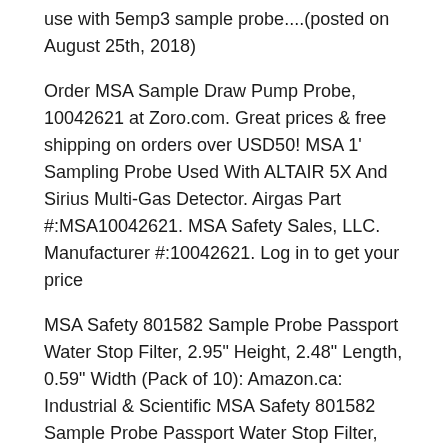use with 5emp3 sample probe....(posted on August 25th, 2018)
Order MSA Sample Draw Pump Probe, 10042621 at Zoro.com. Great prices & free shipping on orders over USD50! MSA 1' Sampling Probe Used With ALTAIR 5X And Sirius Multi-Gas Detector. Airgas Part #:MSA10042621. MSA Safety Sales, LLC. Manufacturer #:10042621. Log in to get your price
MSA Safety 801582 Sample Probe Passport Water Stop Filter, 2.95" Height, 2.48" Length, 0.59" Width (Pack of 10): Amazon.ca: Industrial & Scientific MSA Safety 801582 Sample Probe Passport Water Stop Filter, 2.95" Height, 2.48" Length, 0.59" Width (Pack of 10): Amazon.ca: Industrial & Scientific
MSA 10042621 1' Sampling Probe: Amazon.com: Industrial &